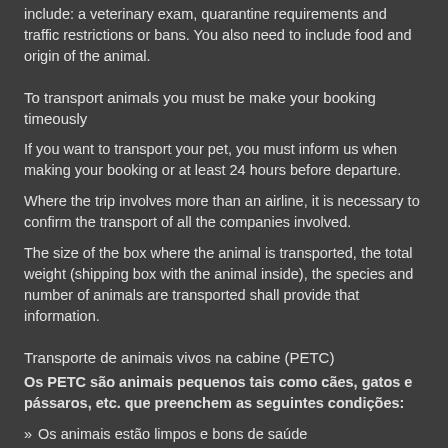include: a veterinary exam, quarantine requirements and traffic restrictions or bans. You also need to include food and origin of the animal.
To transport animals you must be make your booking timeously
If you want to transport your pet, you must inform us when making your booking or at least 24 hours before departure.
Where the trip involves more than an airline, it is necessary to confirm the transport of all the companies involved.
The size of the box where the animal is transported, the total weight (shipping box with the animal inside), the species and number of animals are transported shall provide that information.
Transporte de animais vivos na cabine (PETC)
Os PETC são animais pequenos tais como cães, gatos e pássaros, etc. que preenchem as seguintes condições:
Os animais estão limpos e bons de saúde
São transportados numa gaiola, numa transportadora ou pum